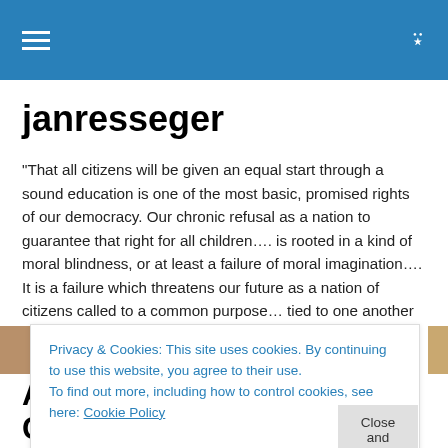janresseger — navigation bar with hamburger menu and search icon
janresseger
"That all citizens will be given an equal start through a sound education is one of the most basic, promised rights of our democracy. Our chronic refusal as a nation to guarantee that right for all children…. is rooted in a kind of moral blindness, or at least a failure of moral imagination…. It is a failure which threatens our future as a nation of citizens called to a common purpose… tied to one another by a common bond." —Senator Paul Wellstone — March 31, 2000
Privacy & Cookies: This site uses cookies. By continuing to use this website, you agree to their use.
To find out more, including how to control cookies, see here: Cookie Policy
Close and accept
Another Key Figure Changes